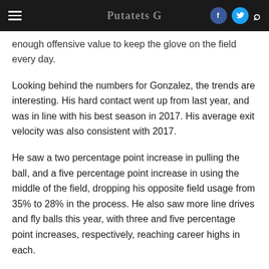Putatets G [Facebook] [Twitter] [Search]
enough offensive value to keep the glove on the field every day.
Looking behind the numbers for Gonzalez, the trends are interesting. His hard contact went up from last year, and was in line with his best season in 2017. His average exit velocity was also consistent with 2017.
He saw a two percentage point increase in pulling the ball, and a five percentage point increase in using the middle of the field, dropping his opposite field usage from 35% to 28% in the process. He also saw more line drives and fly balls this year, with three and five percentage point increases, respectively, reaching career highs in each.